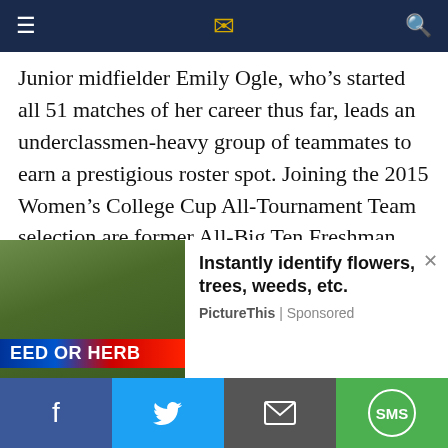≡  [logo]  🔍
Junior midfielder Emily Ogle, who's started all 51 matches of her career thus far, leads an underclassmen-heavy group of teammates to earn a prestigious roster spot. Joining the 2015 Women's College Cup All-Tournament Team selection are former All-Big Ten Freshman defenders Maddie Elliston, a junior from Omaha, Neb., and Ellie Jean, a sophomore out of Coventry, Conn. Standout goalkeeper Britt Eckerstrom's presumed heir apparent, redshirt sophomore Rose Chandler
[Figure (screenshot): Advertisement banner showing a plant identification app. Left side shows green plants with a sign reading 'EED OR HERB'. Right side shows text 'Instantly identify flowers, trees, weeds, etc.' with 'PictureThis | Sponsored' below.]
[Figure (infographic): Social sharing bar at bottom with four buttons: Facebook (blue), Twitter (light blue), Email (dark gray), SMS (green)]